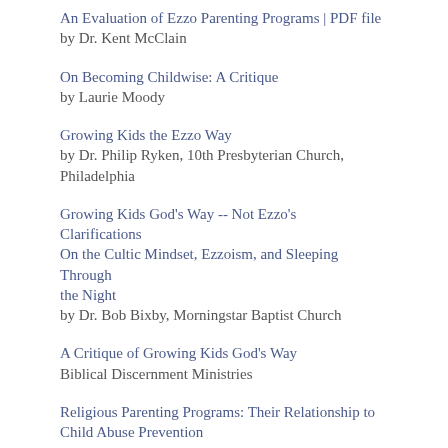An Evaluation of Ezzo Parenting Programs | PDF file
by Dr. Kent McClain
On Becoming Childwise: A Critique
by Laurie Moody
Growing Kids the Ezzo Way
by Dr. Philip Ryken, 10th Presbyterian Church, Philadelphia
Growing Kids God's Way -- Not Ezzo's Clarifications
On the Cultic Mindset, Ezzoism, and Sleeping Through the Night
by Dr. Bob Bixby, Morningstar Baptist Church
A Critique of Growing Kids God's Way
Biblical Discernment Ministries
Religious Parenting Programs: Their Relationship to Child Abuse Prevention